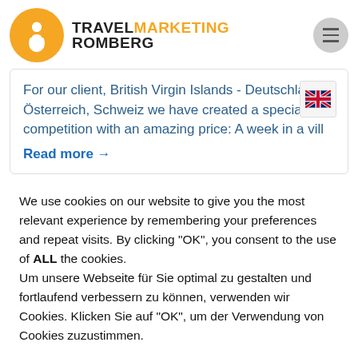[Figure (logo): Travel Marketing Romberg logo: orange circle with white person/traveler icon, followed by bold text TRAVELMARKETING ROMBERG with MARKETING in orange]
For our client, British Virgin Islands - Deutschland, Österreich, Schweiz we have created a special competition with an amazing price: A week in a vill
Read more →
We use cookies on our website to give you the most relevant experience by remembering your preferences and repeat visits. By clicking "OK", you consent to the use of ALL the cookies.
Um unsere Webseite für Sie optimal zu gestalten und fortlaufend verbessern zu können, verwenden wir Cookies. Klicken Sie auf "OK", um der Verwendung von Cookies zuzustimmen.
Cookie settings
OK